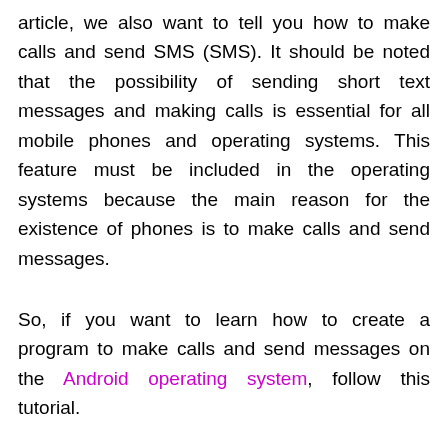article, we also want to tell you how to make calls and send SMS (SMS). It should be noted that the possibility of sending short text messages and making calls is essential for all mobile phones and operating systems. This feature must be included in the operating systems because the main reason for the existence of phones is to make calls and send messages.
So, if you want to learn how to create a program to make calls and send messages on the Android operating system, follow this tutorial.